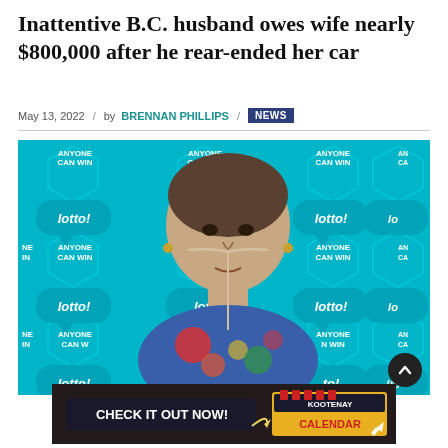Inattentive B.C. husband owes wife nearly $800,000 after he rear-ended her car
May 13, 2022 / by BRENNAN PHILLIPS / NEWS
[Figure (photo): Elderly woman with nasal cannula oxygen tube standing in front of a cyan/teal lotto promotional backdrop with 'ANYONE CAN WIN' and 'lotto!' text repeated in hexagonal and speech-bubble shapes]
[Figure (photo): Advertisement banner: 'CHECK IT OUT NOW!' with KOOTENAY CALENDAR branding on dark background with crowd imagery]